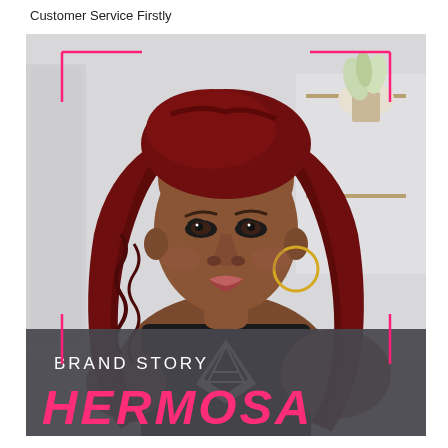Customer Service Firstly
[Figure (photo): A woman wearing a deep wavy burgundy/dark red lace front wig, black graphic t-shirt, hoop earrings, posed in front of a white shelf with a plant. Pink rectangular frame overlay on the photo. Bottom has a semi-transparent dark overlay with 'BRAND STORY' in white and 'HERMOSA' in hot pink bold italic text.]